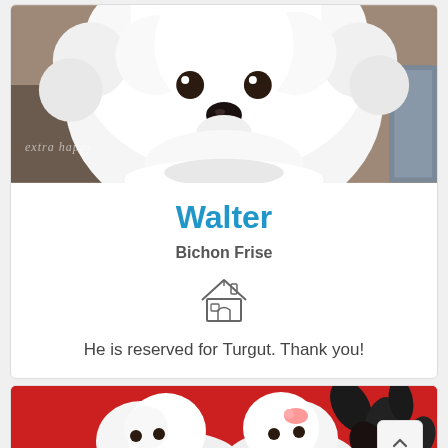[Figure (photo): Close-up photo of a white fluffy Bichon Frise dog with a round face, dark eyes and nose, with a watermark 'extra happy' visible in the lower left]
Walter
Bichon Frise
[Figure (illustration): Dog house / kennel icon in gray outline style]
He is reserved for Turgut. Thank you!
[Figure (photo): Photo of small white fluffy dogs on a red background with dark floral decorations]